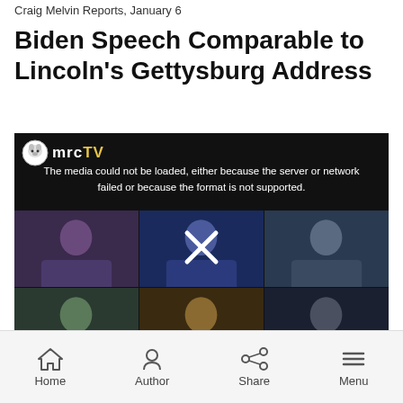Craig Melvin Reports, January 6
Biden Speech Comparable to Lincoln's Gettysburg Address
[Figure (screenshot): MRCTV video player showing a grid of 6 people in video call format with a media error message overlay reading 'The media could not be loaded, either because the server or network failed or because the format is not supported.' and an X close button. Bottom caption bar reads 'ATTACK ON THE CAPITOL']
Home  Author  Share  Menu